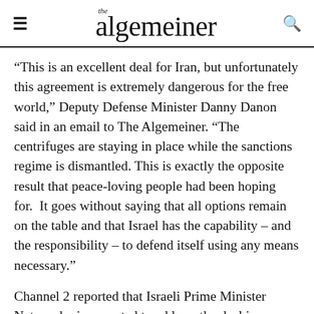the algemeiner
“This is an excellent deal for Iran, but unfortunately this agreement is extremely dangerous for the free world,” Deputy Defense Minister Danny Danon said in an email to The Algemeiner. “The centrifuges are staying in place while the sanctions regime is dismantled. This is exactly the opposite result that peace-loving people had been hoping for.  It goes without saying that all options remain on the table and that Israel has the capability – and the responsibility – to defend itself using any means necessary.”
Channel 2 reported that Israeli Prime Minister Netanyahu is expected to address the deal in a statement at the start of his weekly cabinet